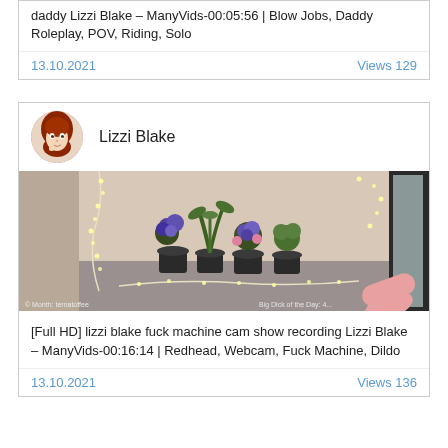daddy Lizzi Blake – ManyVids-00:05:56 | Blow Jobs, Daddy Roleplay, POV, Riding, Solo
13.10.2021    Views 129
Lizzi Blake
[Figure (photo): A room scene with fairy lights, potted plants with purple flowers and green foliage on a carpet floor, and a partial view of a mirror on the right. Watermark text visible at bottom: '© Month: ternatoffee' and 'Big Dick of the Day: 4...']
[Full HD] lizzi blake fuck machine cam show recording Lizzi Blake – ManyVids-00:16:14 | Redhead, Webcam, Fuck Machine, Dildo
13.10.2021    Views 136